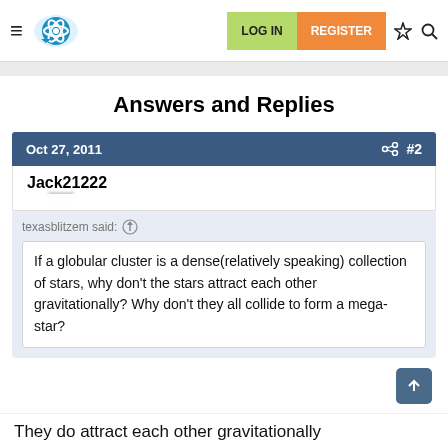LOG IN  REGISTER
Answers and Replies
Oct 27, 2011  #2
Jack21222
texasblitzem said:
If a globular cluster is a dense(relatively speaking) collection of stars, why don't the stars attract each other gravitationally? Why don't they all collide to form a mega-star?
They do attract each other gravitationally